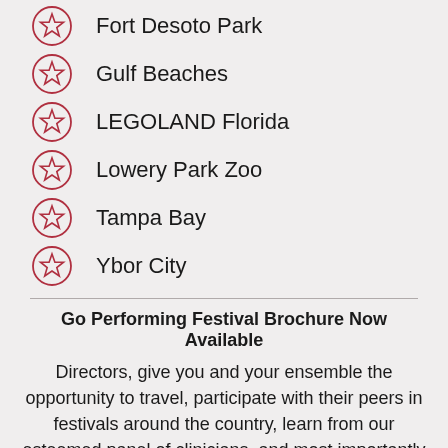Fort Desoto Park
Gulf Beaches
LEGOLAND Florida
Lowery Park Zoo
Tampa Bay
Ybor City
Go Performing Festival Brochure Now Available
Directors, give you and your ensemble the opportunity to travel, participate with their peers in festivals around the country, learn from our esteemed panel of clinicians, and most importantly - have FUN! Explore Go Performing and get a preview of 2022! Click HERE to view